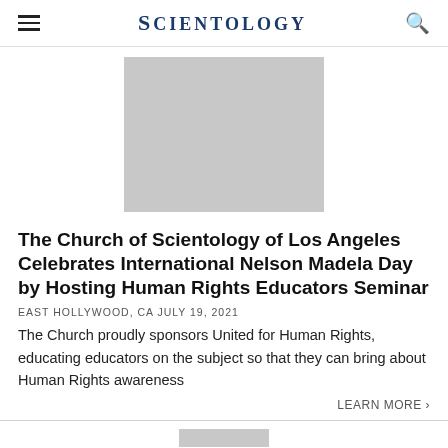SCIENTOLOGY
[Figure (photo): Gray placeholder image rectangle centered on the page]
The Church of Scientology of Los Angeles Celebrates International Nelson Madela Day by Hosting Human Rights Educators Seminar
EAST HOLLYWOOD, CA JULY 19, 2021
The Church proudly sponsors United for Human Rights, educating educators on the subject so that they can bring about Human Rights awareness
LEARN MORE ›